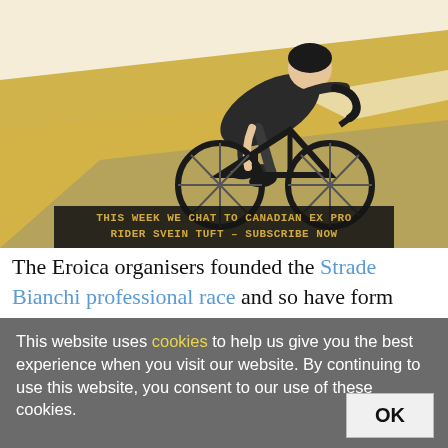[Figure (illustration): Stylized illustration of a cyclist in an aerodynamic racing position on a bicycle, retro poster style with gold/yellow and white background tones. A dark banner at the bottom reads: THIS WEEK WE CHAT TO CANADIAN EX PRO RIDER SVEIN TUFT – SUBSCRIBE NOW]
The Eroica organisers founded the Strade Bianchi professional race and so have form when it comes to putting modern bikes on the Tuscan
This website uses cookies to help us give you the best experience when you visit our website. By continuing to use this website, you consent to our use of these cookies.